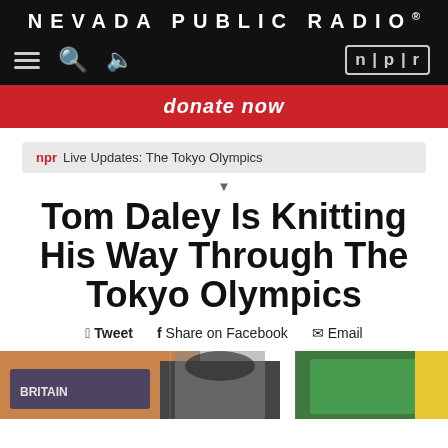NEVADA PUBLIC RADIO®
[Figure (screenshot): Nevada Public Radio website header with navigation icons (hamburger menu, search, audio) on left and NPR badge on right, on black background]
[Figure (infographic): Red donate now banner bar]
npr Live Updates: The Tokyo Olympics
Tom Daley Is Knitting His Way Through The Tokyo Olympics
Tweet  Share on Facebook  Email
[Figure (photo): Partial photo showing people at the Tokyo Olympics, including someone in a Great Britain shirt and someone in a green shirt]